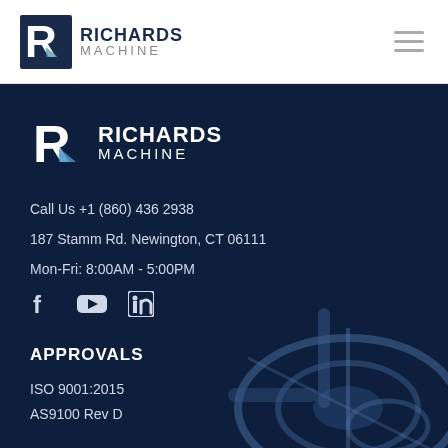[Figure (logo): Richards Machine logo in header — dark blue R icon with RICHARDS MACHINE text]
[Figure (illustration): Hamburger menu icon (three horizontal lines) in top-right]
[Figure (logo): Richards Machine logo in footer section — white R icon with RICHARDS MACHINE text]
Call Us +1 (860) 436 2938
187 Stamm Rd. Newington, CT 06111
Mon-Fri: 8:00AM - 5:00PM
[Figure (illustration): Social media icons: Facebook, YouTube, LinkedIn]
APPROVALS
ISO 9001:2015
AS9100 Rev D